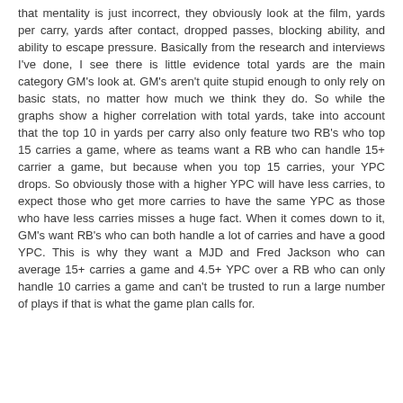that mentality is just incorrect, they obviously look at the film, yards per carry, yards after contact, dropped passes, blocking ability, and ability to escape pressure. Basically from the research and interviews I've done, I see there is little evidence total yards are the main category GM's look at. GM's aren't quite stupid enough to only rely on basic stats, no matter how much we think they do. So while the graphs show a higher correlation with total yards, take into account that the top 10 in yards per carry also only feature two RB's who top 15 carries a game, where as teams want a RB who can handle 15+ carrier a game, but because when you top 15 carries, your YPC drops. So obviously those with a higher YPC will have less carries, to expect those who get more carries to have the same YPC as those who have less carries misses a huge fact. When it comes down to it, GM's want RB's who can both handle a lot of carries and have a good YPC. This is why they want a MJD and Fred Jackson who can average 15+ carries a game and 4.5+ YPC over a RB who can only handle 10 carries a game and can't be trusted to run a large number of plays if that is what the game plan calls for.